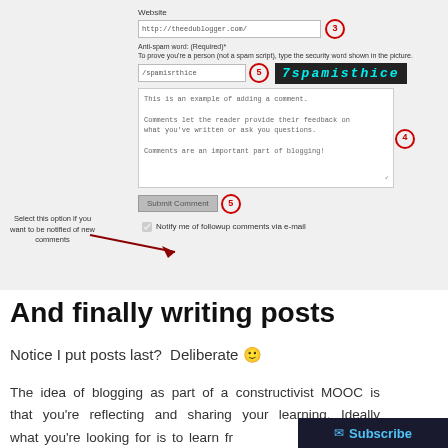[Figure (screenshot): Screenshot of a blog comment form showing Website field with 'http://theedublogger.com/' and circled number 3, Anti-spam word field with '/spamisrthice' and circled number 5, a CAPTCHA image showing '7spamisthice', a comment textarea with example comment text and circled number 4, a Submit Comment button with circled number 5, and a checkbox 'Notify me of followup comments via e-mail'. A callout annotation reads 'Select this option if you want to be notified of new comments' with an arrow pointing to the checkbox.]
And finally writing posts
Notice I put posts last?  Deliberate 🙂
The idea of blogging as part of a constructivist MOOC is that you're reflecting and sharing your learning. Ideally what you're looking for is to learn fr